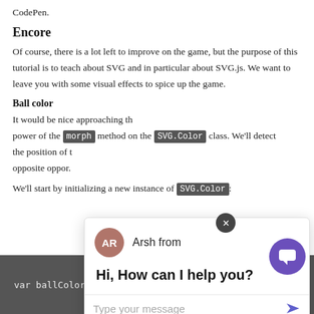CodePen.
Encore
Of course, there is a lot left to improve on the game, but the purpose of this tutorial is to teach about SVG and in particular about SVG.js. We want to leave you with some visual effects to spice up the game.
Ball color
It would be nice approaching the power of the morph method on the SVG.Color class. We'll detect the position of the opposite oppor...
We'll start by initializing a new instance of SVG.Color:
[Figure (screenshot): Chat popup widget showing avatar 'AR' labeled 'Arsh from', greeting 'Hi, How can I help you?', and a 'Type your message' input with send arrow. Close X button top right of popup. Purple chat bubble icon bottom right.]
var ballColor = new SVG.Color('#ff0066')